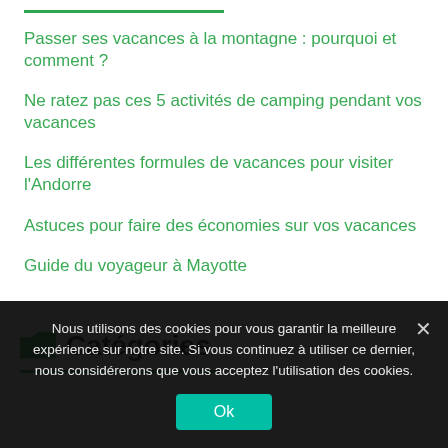Passer ses vacances à la montagne : pourquoi et comment ?
Ne ratez pas ces 5 activités de camping pendant vos vacances
Les différentes formules de vacances pour visiter l'Andorre
Astuces pour faire des économies sur vos vacances
Guide du voyageur à Mayotte
Catégories
Nous utilisons des cookies pour vous garantir la meilleure expérience sur notre site. Si vous continuez à utiliser ce dernier, nous considérerons que vous acceptez l'utilisation des cookies.